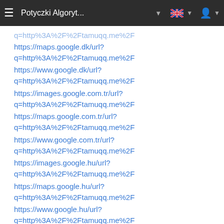Potyczki Algoryt...
https://maps.google.dk/url?q=http%3A%2F%2Ftamuqq.me%2F
https://www.google.dk/url?q=http%3A%2F%2Ftamuqq.me%2F
https://images.google.com.tr/url?q=http%3A%2F%2Ftamuqq.me%2F
https://maps.google.com.tr/url?q=http%3A%2F%2Ftamuqq.me%2F
https://www.google.com.tr/url?q=http%3A%2F%2Ftamuqq.me%2F
https://images.google.hu/url?q=http%3A%2F%2Ftamuqq.me%2F
https://maps.google.hu/url?q=http%3A%2F%2Ftamuqq.me%2F
https://www.google.hu/url?q=http%3A%2F%2Ftamuqq.me%2F
https://images.google.com.mx/url?q=http%3A%2F%2Ftamuqq.me%2F
https://maps.google.com.mx/url?q=http%3A%2F%2Ftamuqq.me%2F